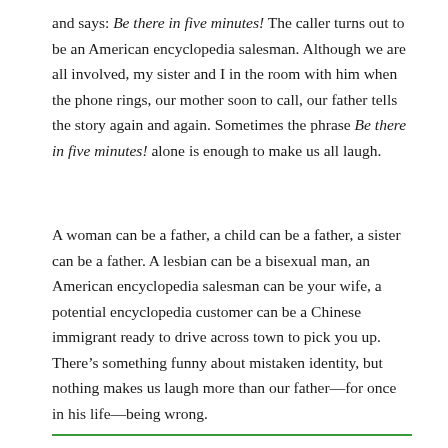and says: Be there in five minutes! The caller turns out to be an American encyclopedia salesman. Although we are all involved, my sister and I in the room with him when the phone rings, our mother soon to call, our father tells the story again and again. Sometimes the phrase Be there in five minutes! alone is enough to make us all laugh.
A woman can be a father, a child can be a father, a sister can be a father. A lesbian can be a bisexual man, an American encyclopedia salesman can be your wife, a potential encyclopedia customer can be a Chinese immigrant ready to drive across town to pick you up. There’s something funny about mistaken identity, but nothing makes us laugh more than our father—for once in his life—being wrong.